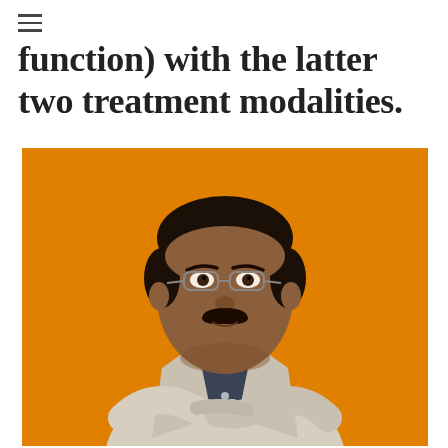function) with the latter two treatment modalities.
[Figure (photo): Portrait photo of a middle-aged South Asian man wearing glasses, a white/light grey blazer over a dark patterned shirt, arms crossed, against an orange background.]